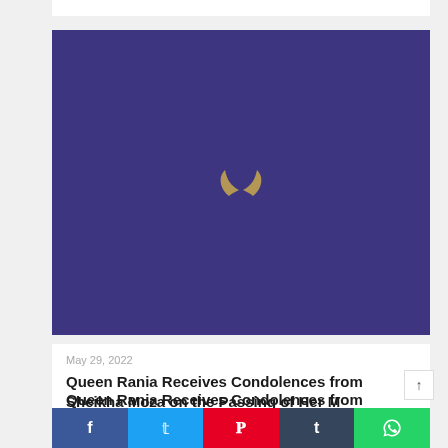[Figure (illustration): Deep purple/indigo rectangular image with a small gold/tan decorative leaf or feather logo icon centered in the middle.]
May 29, 2022
Queen Rania Receives Condolences from Sheikha Moza on the Passing of Her Majesty's Father